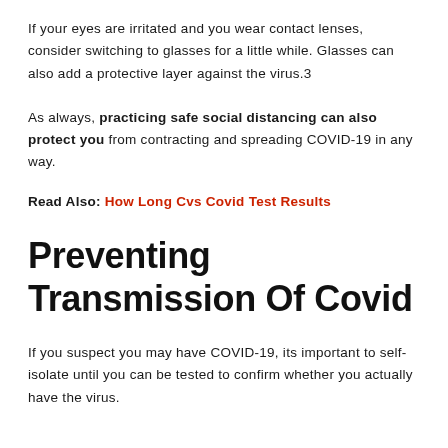If your eyes are irritated and you wear contact lenses, consider switching to glasses for a little while. Glasses can also add a protective layer against the virus.3
As always, practicing safe social distancing can also protect you from contracting and spreading COVID-19 in any way.
Read Also: How Long Cvs Covid Test Results
Preventing Transmission Of Covid
If you suspect you may have COVID-19, its important to self-isolate until you can be tested to confirm whether you actually have the virus.